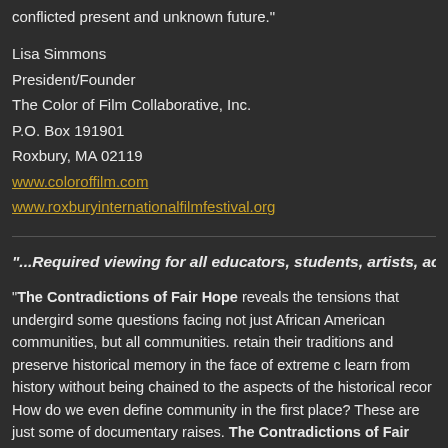conflicted present and unknown future."
Lisa Simmons
President/Founder
The Color of Film Collaborative, Inc.
P.O. Box 191901
Roxbury, MA 02119
www.coloroffilm.com
www.roxburyinternationalfilmfestival.org
"...Required viewing for all educators, students, artists, activ...
"The Contradictions of Fair Hope reveals the tensions that undergird some questions facing not just African American communities, but all communities. retain their traditions and preserve historical memory in the face of extreme c learn from history without being chained to the aspects of the historical recor How do we even define community in the first place? These are just some of documentary raises. The Contradictions of Fair Hope is required viewing f artists, activists and anyone interested exploring the significant contradiction society."